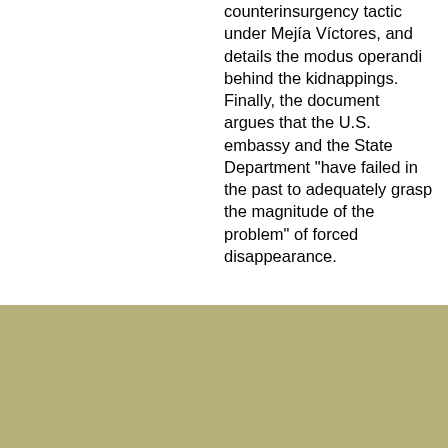counterinsurgency tactic under Mejía Víctores, and details the modus operandi behind the kidnappings. Finally, the document argues that the U.S. embassy and the State Department "have failed in the past to adequately grasp the magnitude of the problem" of forced disappearance.
home | about | documents | news | publications | FOIA | research | internships | search | donate | mailing list

Contents of this website Copyright 1995-2017 National Security Archive. All rights reserved. Terms and conditions for use of materials found on this website.